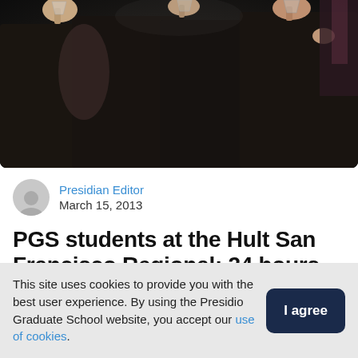[Figure (photo): Dark photo of people at an event holding up glasses/drinks in a toast, seen from close up, dark clothing, indoor setting]
Presidian Editor
March 15, 2013
PGS students at the Hult San Francisco Regional: 24 hours of
This site uses cookies to provide you with the best user experience. By using the Presidio Graduate School website, you accept our use of cookies.